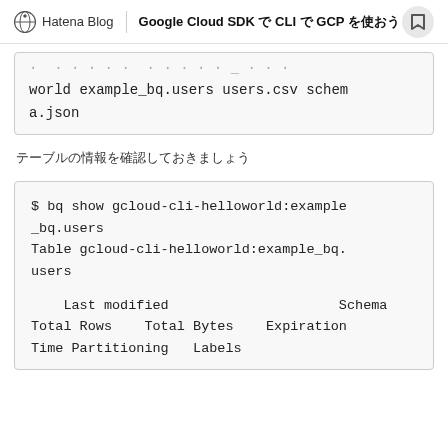Hatena Blog | Google Cloud SDK で CLI で GCP を使おう
world example_bq.users users.csv schema.json
テーブルの情報を確認しておきましょう
$ bq show gcloud-cli-helloworld:example_bq.users
Table gcloud-cli-helloworld:example_bq.users

   Last modified                     Schema      Total Rows    Total Bytes    Expiration    Time Partitioning    Labels